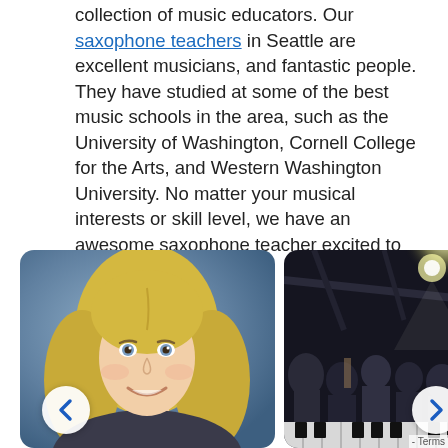collection of music educators. Our saxophone teachers in Seattle are excellent musicians, and fantastic people. They have studied at some of the best music schools in the area, such as the University of Washington, Cornell College for the Arts, and Western Washington University. No matter your musical interests or skill level, we have an awesome saxophone teacher excited to work with you!
[Figure (photo): Headshot of a smiling blonde woman against a blue-gray background]
[Figure (photo): Dark indoor performance scene with stage lighting and crowd/musicians]